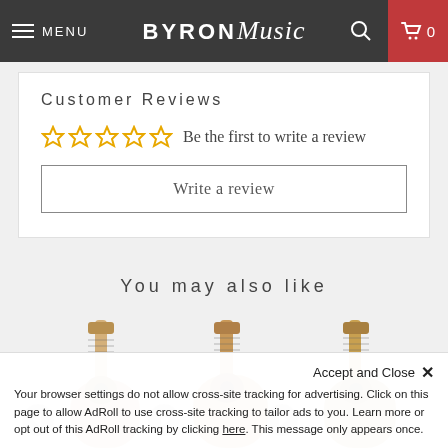MENU | BYRON Music | Search | Cart 0
Customer Reviews
☆☆☆☆☆ Be the first to write a review
Write a review
You may also like
[Figure (photo): Three acoustic guitars shown side by side from above, partially cropped]
Accept and Close ✕
Your browser settings do not allow cross-site tracking for advertising. Click on this page to allow AdRoll to use cross-site tracking to tailor ads to you. Learn more or opt out of this AdRoll tracking by clicking here. This message only appears once.